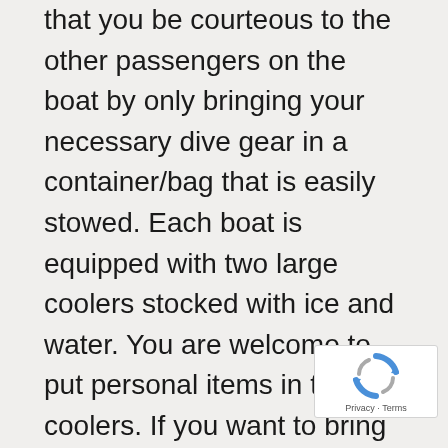that you be courteous to the other passengers on the boat by only bringing your necessary dive gear in a container/bag that is easily stowed. Each boat is equipped with two large coolers stocked with ice and water. You are welcome to put personal items in these coolers. If you want to bring your own cooler, please limit the size such that it will fit under your seat. There are some items that are not allowed on our boats, such as firearms, illegal drugs, and personal GPS's. If you are found with a personal GPS, the Captain has the right to confiscate, delete all way points and routes, and hold it for the remainder of the charter. This includes cell phones with built in GPS. Now that the gear thing is out of the way, let's talk about diving. Even though North Carolina
[Figure (other): reCAPTCHA badge with spinning arrows icon and Privacy · Terms text]